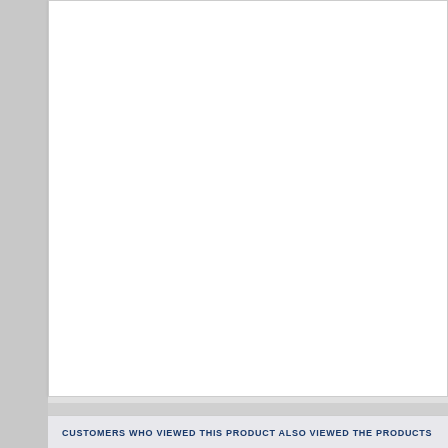[Figure (screenshot): White content panel area, mostly blank/empty, representing a product page screenshot with a large white document area visible on the left side of the viewport.]
CUSTOMERS WHO VIEWED THIS PRODUCT ALSO VIEWED THE PRODUCTS